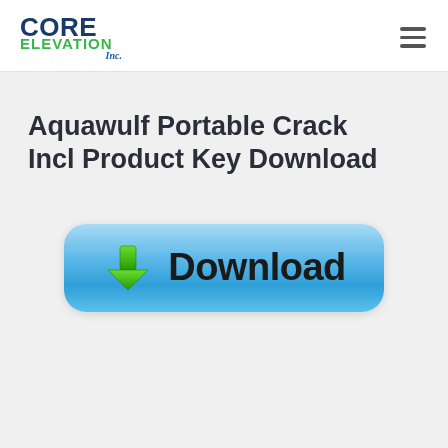[Figure (logo): Core Elevation Inc. logo — 'CORE' in bold navy blue, 'ELEVATION' in green, 'Inc.' in blue cursive script]
Aquawulf Portable Crack Incl Product Key Download
[Figure (illustration): Blue rounded-rectangle download button with a green downward arrow icon and the text 'Download' in bold black]